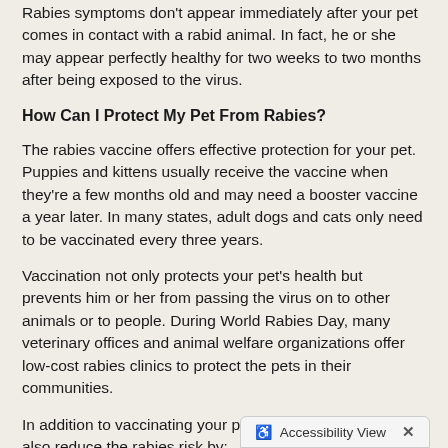Rabies symptoms don't appear immediately after your pet comes in contact with a rabid animal. In fact, he or she may appear perfectly healthy for two weeks to two months after being exposed to the virus.
How Can I Protect My Pet From Rabies?
The rabies vaccine offers effective protection for your pet. Puppies and kittens usually receive the vaccine when they're a few months old and may need a booster vaccine a year later. In many states, adult dogs and cats only need to be vaccinated every three years.
Vaccination not only protects your pet's health but prevents him or her from passing the virus on to other animals or to people. During World Rabies Day, many veterinary offices and animal welfare organizations offer low-cost rabies clinics to protect the pets in their communities.
In addition to vaccinating your pets and livestock, you can also reduce the rabies risk by: